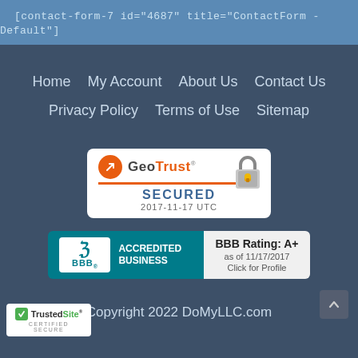[contact-form-7 id="4687" title="ContactForm - Default"]
Home  My Account  About Us  Contact Us  Privacy Policy  Terms of Use  Sitemap
[Figure (logo): GeoTrust Secured badge with padlock icon, date 2017-11-17 UTC]
[Figure (logo): BBB Accredited Business badge with BBB Rating A+ as of 11/17/2017, Click for Profile]
[Figure (logo): TrustedSite Certified Secure badge]
Copyright 2022 DoMyLLC.com